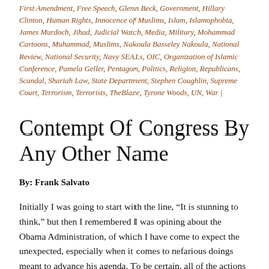First Amendment, Free Speech, Glenn Beck, Government, Hillary Clinton, Human Rights, Innocence of Muslims, Islam, Islamophobia, James Murdoch, Jihad, Judicial Watch, Media, Military, Mohammad Cartoons, Muhammad, Muslims, Nakoula Basseley Nakoula, National Review, National Security, Navy SEALs, OIC, Organization of Islamic Conference, Pamela Geller, Pentagon, Politics, Religion, Republicans, Scandal, Shariah Law, State Department, Stephen Coughlin, Supreme Court, Terrorism, Terrorists, TheBlaze, Tyrone Woods, UN, War |
Contempt Of Congress By Any Other Name
By: Frank Salvato
Initially I was going to start with the line, “It is stunning to think,” but then I remembered I was opining about the Obama Administration, of which I have come to expect the unexpected, especially when it comes to nefarious doings meant to advance his agenda. To be certain, all of the actions (and inactions) taken (and not taken) by this administration – without exception –